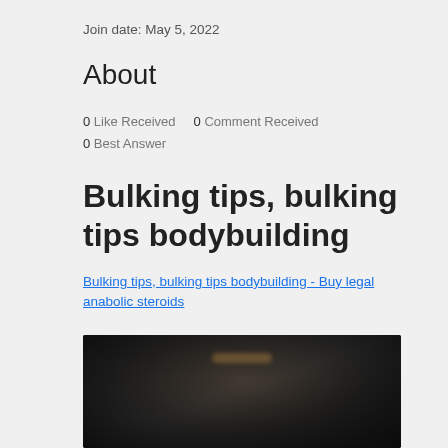Join date: May 5, 2022
About
0 Like Received   0 Comment Received
0 Best Answer
Bulking tips, bulking tips bodybuilding
Bulking tips, bulking tips bodybuilding - Buy legal anabolic steroids
[Figure (photo): Dark blurred image, appears to be a bodybuilding or fitness related photo with dark background]